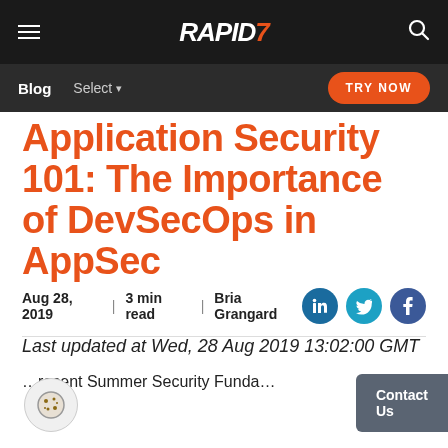RAPID7 — Blog | Select | TRY NOW
Application Security 101: The Importance of DevSecOps in AppSec
Aug 28, 2019 | 3 min read | Bria Grangard
Last updated at Wed, 28 Aug 2019 13:02:00 GMT
...recent Summer Security Funda...